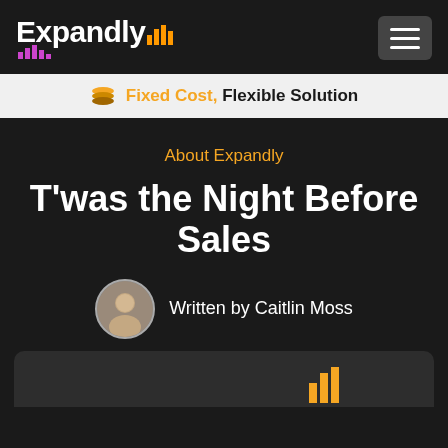[Figure (logo): Expandly logo with bar chart icon and text in white on dark background, with hamburger menu button on right]
Fixed Cost, Flexible Solution
About Expandly
T'was the Night Before Sales
Written by Caitlin Moss
[Figure (photo): Partial view of an article thumbnail image at the bottom of the page]